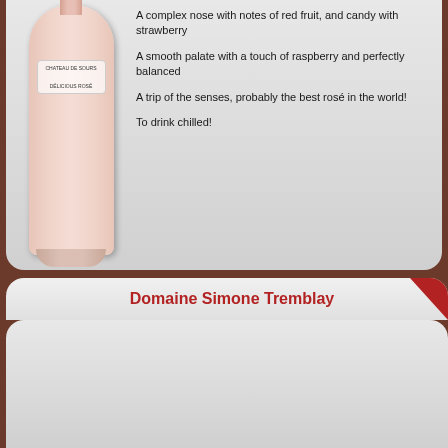[Figure (photo): Rose wine bottle (Chateau de Sours) on light gray background]
A complex nose with notes of red fruit, and candy with strawberry
A smooth palate with a touch of raspberry and perfectly balanced
A trip of the senses, probably the best rosé in the world!
To drink chilled!
Domaine Simone Tremblay
[Figure (photo): White wine bottle (Domaine, 2010) on light gray background]
Our Hotest latest organic winery!!
Delicious organic Chablis wines from Philippe Goulley
A family story for family wines
Gold Medal at Millésime BIO 2012
3 Gold medals at Millésime BIO 2013 (NOV 2012)
Let's taste the Chablis, Petit Chablis,
But also premier crus: Fourchaume, Montmains,
One of our 2012 best revelation without any doubt